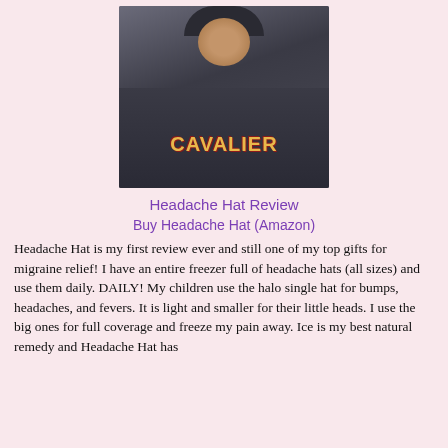[Figure (photo): Person wearing a dark hoodie with 'CAVALIER' text on the front and a black hat/hood on their head, sitting on a couch.]
Headache Hat Review
Buy Headache Hat (Amazon)
Headache Hat is my first review ever and still one of my top gifts for migraine relief! I have an entire freezer full of headache hats (all sizes) and use them daily. DAILY! My children use the halo single hat for bumps, headaches, and fevers. It is light and smaller for their little heads. I use the big ones for full coverage and freeze my pain away. Ice is my best natural remedy and Headache Hat has